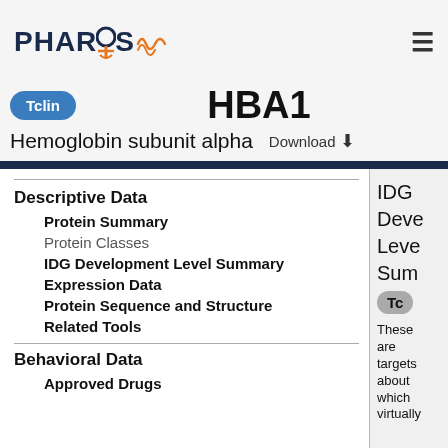PHAROS
HBA1
Tclin
Hemoglobin subunit alpha  Download ↓
Descriptive Data
Protein Summary
Protein Classes
IDG Development Level Summary
Expression Data
Protein Sequence and Structure
Related Tools
Behavioral Data
Approved Drugs
IDG Development Level Summary  Tclin  These are targets about which virtually